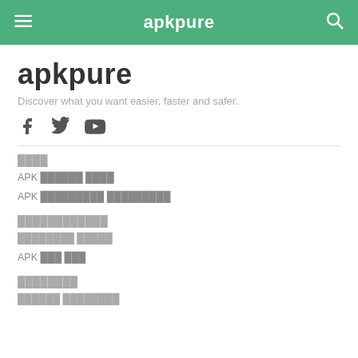apkpure
apkpure
Discover what you want easier, faster and safer.
[Figure (illustration): Social media icons: Facebook, Twitter, YouTube]
████
APK ██████ ████
APK █████████ █████████
████████████
████████ █████
APK ███ ███
████████
██████ ████████